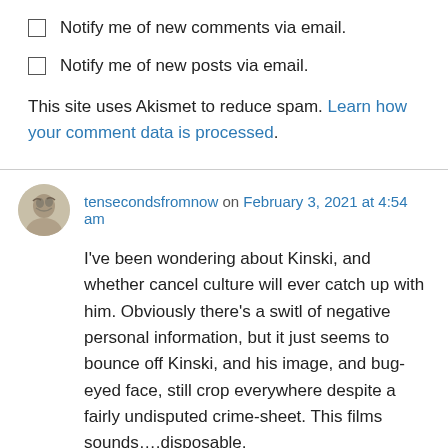Notify me of new comments via email.
Notify me of new posts via email.
This site uses Akismet to reduce spam. Learn how your comment data is processed.
tensecondsfromnow on February 3, 2021 at 4:54 am
I've been wondering about Kinski, and whether cancel culture will ever catch up with him. Obviously there's a switl of negative personal information, but it just seems to bounce off Kinski, and his image, and bug-eyed face, still crop everywhere despite a fairly undisputed crime-sheet. This films sounds….disposable, although of course For some reason however the